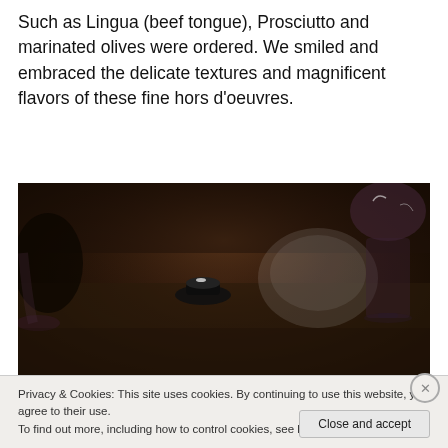Such as Lingua (beef tongue), Prosciutto and marinated olives were ordered. We smiled and embraced the delicate textures and magnificent flavors of these fine hors d'oeuvres.
[Figure (photo): Dark restaurant table scene showing wine glasses and a small dish/candle holder on a wooden surface against a dark stone wall background.]
Privacy & Cookies: This site uses cookies. By continuing to use this website, you agree to their use.
To find out more, including how to control cookies, see here: Cookie Policy